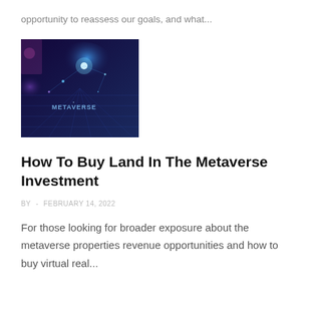opportunity to reassess our goals, and what...
[Figure (photo): Dark digital metaverse landscape with glowing blue lights and grid pattern, with text 'METAVERSE' visible]
How To Buy Land In The Metaverse Investment
BY - FEBRUARY 14, 2022
For those looking for broader exposure about the metaverse properties revenue opportunities and how to buy virtual real...